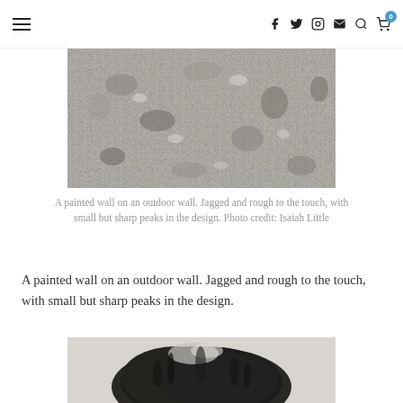Navigation header with hamburger menu and social/utility icons (Facebook, Twitter, Instagram, Email, Search, Cart with badge 0)
[Figure (photo): A close-up photograph of a rough, textured painted outdoor wall — grey and beige tones, jagged surface with small sharp peaks.]
A painted wall on an outdoor wall. Jagged and rough to the touch, with small but sharp peaks in the design. Photo credit: Isaiah Little
A painted wall on an outdoor wall. Jagged and rough to the touch, with small but sharp peaks in the design.
[Figure (photo): A close-up photograph showing dark, fluffy or fuzzy texture — appears to be animal fur or a fluffy dark fabric, with some lighter highlights near the top.]